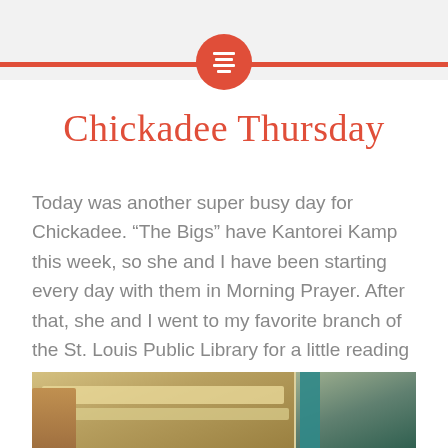Chickadee Thursday
Today was another super busy day for Chickadee. “The Bigs” have Kantorei Kamp this week, so she and I have been starting every day with them in Morning Prayer. After that, she and I went to my favorite branch of the St. Louis Public Library for a little reading time:
[Figure (photo): Interior of a public library branch showing ceiling lights, shelving area, and a teal column on the right side; a person is partially visible on the left edge.]